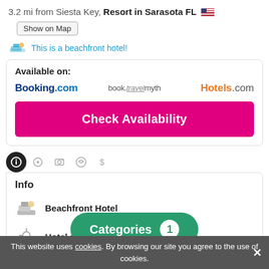3.2 mi from Siesta Key, Resort in Sarasota FL 🇺🇸
Show on Map
This is a beachfront hotel!
Available on:
[Figure (logo): Booking.com, book.travelmyth, Hotels.com logos]
Check Availability
Info
Beachfront Hotel
Hotel near The Beach
Family Friendly Hotel
Categories 1
This website uses cookies. By browsing our site you agree to the use of cookies.